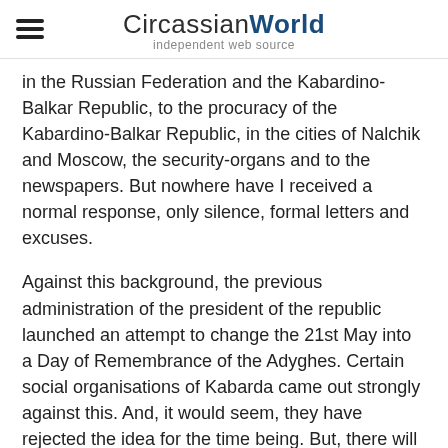CircassianWorld — independent web source
in the Russian Federation and the Kabardino-Balkar Republic, to the procuracy of the Kabardino-Balkar Republic, in the cities of Nalchik and Moscow, the security-organs and to the newspapers. But nowhere have I received a normal response, only silence, formal letters and excuses.
Against this background, the previous administration of the president of the republic launched an attempt to change the 21st May into a Day of Remembrance of the Adyghes. Certain social organisations of Kabarda came out strongly against this. And, it would seem, they have rejected the idea for the time being. But, there will evidently be no more measures taken in regard to a Day of Remembrance of the Adyghes, the Circassians – the victims of the Russo-Caucasian War.
The 21st of May sounds the alarm again! It is a call for us